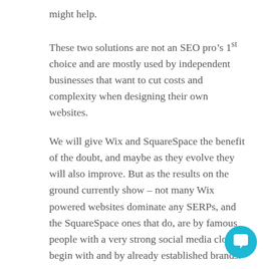might help.
These two solutions are not an SEO pro’s 1st choice and are mostly used by independent businesses that want to cut costs and complexity when designing their own websites.
We will give Wix and SquareSpace the benefit of the doubt, and maybe as they evolve they will also improve. But as the results on the ground currently show – not many Wix powered websites dominate any SERPs, and the SquareSpace ones that do, are by famous people with a very strong social media clout to begin with and by already established brands.